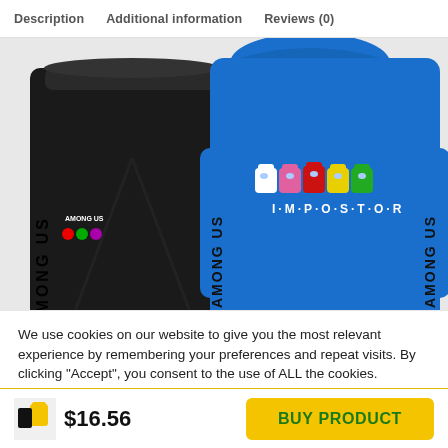Description   Additional information   Reviews (0)
[Figure (photo): Product photo showing a black 'Among Us' sweatpants with colorful character logos, paired with a blue 'IMPOSTOR' hoodie featuring Among Us characters on the chest and 'AMONG US' text down the sleeves.]
We use cookies on our website to give you the most relevant experience by remembering your preferences and repeat visits. By clicking “Accept”, you consent to the use of ALL the cookies.
Do not sell my personal information.
[Figure (photo): Small thumbnail of yellow/black Among Us hoodie and sweatpants set]
$16.56
BUY PRODUCT